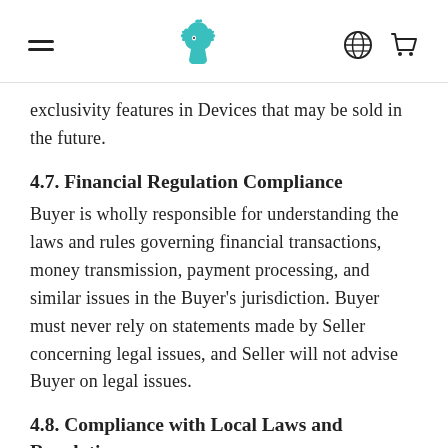navigation header with hamburger menu, bird logo, globe icon, and cart icon
exclusivity features in Devices that may be sold in the future.
4.7. Financial Regulation Compliance
Buyer is wholly responsible for understanding the laws and rules governing financial transactions, money transmission, payment processing, and similar issues in the Buyer’s jurisdiction. Buyer must never rely on statements made by Seller concerning legal issues, and Seller will not advise Buyer on legal issues.
4.8. Compliance with Local Laws and Regulations